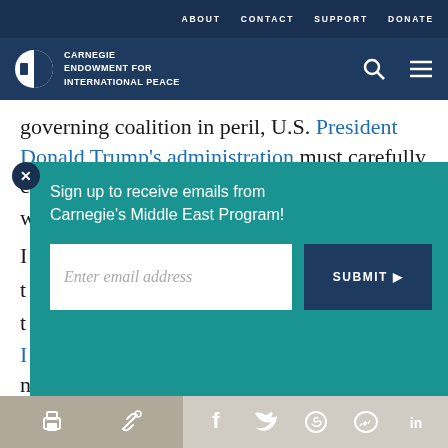ABOUT   CONTACT   SUPPORT   DONATE
[Figure (logo): Carnegie Endowment for International Peace logo with circular icon and white text on dark navy background, with search and menu icons]
governing coalition in peril, U.S. President Donald Trump’s administration must carefully consider whether and when to release its parameters for
Sign up to receive emails from Carnegie’s Middle East Program!
Enter email address
SUBMIT ►
parameters have moved further away from
Share icons: print, link, Facebook, Twitter, WhatsApp, Messenger, LinkedIn